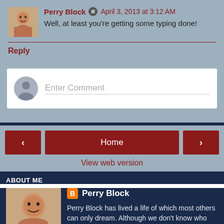Perry Block · April 3, 2013 at 3:12 AM
Well, at least you're getting some typing done!
Reply
Enter Comment
Home
View web version
ABOUT ME
Perry Block
Perry Block has lived a life of which most others can only dream. Although we don't know who these "most others" might be, it's clear their dreams have to be